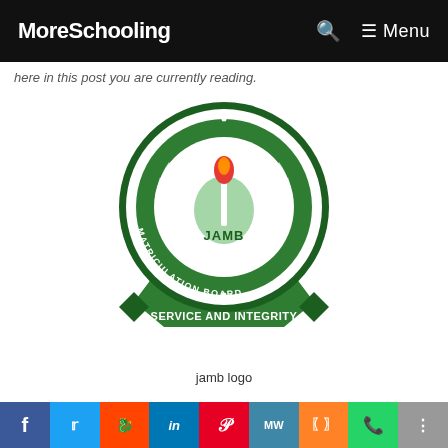MoreSchooling
here in this post you are currently reading.
[Figure (logo): JAMB (Joint Admissions and Matriculation Board) circular logo with torch, Nigeria map, and text SERVICE AND INTEGRITY on a green banner]
jamb logo
To make this official, this is a notice to inform all JAMB and WAEC candidates who will be sitting for the upcoming JAMB examination that JAMB subject combination for Forensic Science has been released by the
f  Twitter  Reddit  in  Pinterest  MW  Mix  WhatsApp  Share